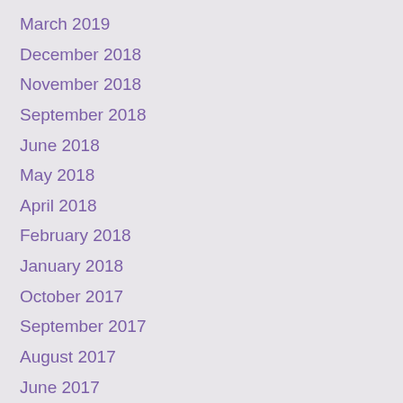March 2019
December 2018
November 2018
September 2018
June 2018
May 2018
April 2018
February 2018
January 2018
October 2017
September 2017
August 2017
June 2017
May 2017
April 2017
March 2017
February 2017
January 2017
December 2016